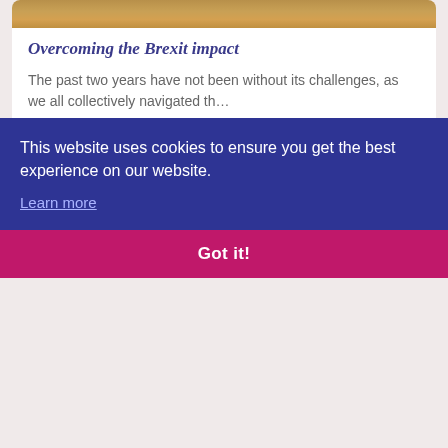[Figure (photo): Partial image of food at top of card, cropped]
Overcoming the Brexit impact
The past two years have not been without its challenges, as we all collectively navigated th…
[Figure (illustration): Arrow circle button pointing right]
[Figure (photo): Dark navy blue image with watermark/cursive text in background for second card]
This website uses cookies to ensure you get the best experience on our website.
Learn more
Got it!